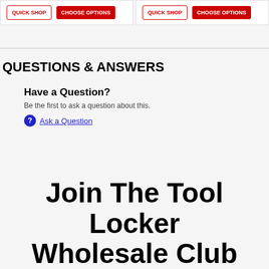[Figure (screenshot): Two product cards each with Quick shop and Choose options buttons in red]
QUESTIONS & ANSWERS
Have a Question?
Be the first to ask a question about this.
Ask a Question
Join The Tool Locker Wholesale Club